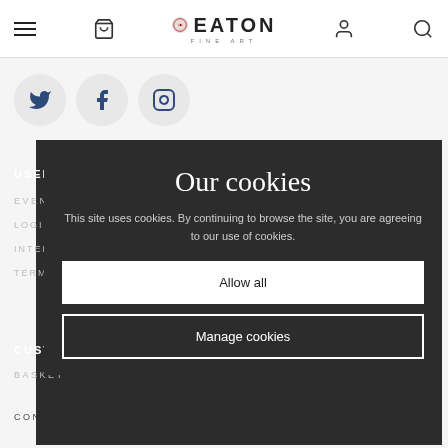Eaton Fine Art — navigation header with hamburger, bag, logo, user, search icons
[Figure (illustration): Social media icons: Twitter, Facebook, Instagram in circular grey buttons]
USEFUL LINKS
EVENTS
LOGIN / REGISTER
INTEREST FREE CREDIT
TERMS
Our cookies
This site uses cookies. By continuing to browse the site, you are agreeing to our use of cookies.
Allow all
Manage cookies
CUSTOMER SUPPORT
BASKET
CONTACT US